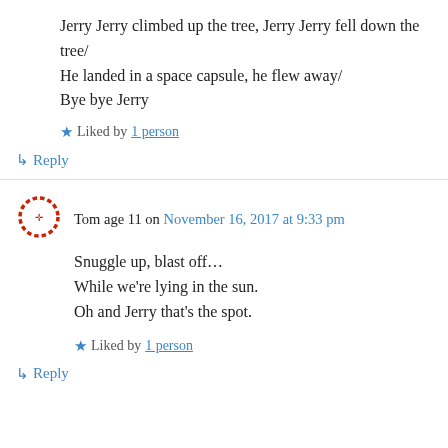Jerry Jerry climbed up the tree, Jerry Jerry fell down the tree/
He landed in a space capsule, he flew away/
Bye bye Jerry
Liked by 1 person
↳ Reply
Tom age 11 on November 16, 2017 at 9:33 pm
Snuggle up, blast off…
While we're lying in the sun.
Oh and Jerry that's the spot.
Liked by 1 person
↳ Reply